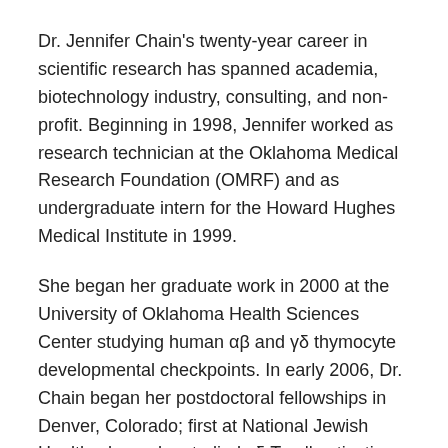Dr. Jennifer Chain's twenty-year career in scientific research has spanned academia, biotechnology industry, consulting, and non-profit. Beginning in 1998, Jennifer worked as research technician at the Oklahoma Medical Research Foundation (OMRF) and as undergraduate intern for the Howard Hughes Medical Institute in 1999.
She began her graduate work in 2000 at the University of Oklahoma Health Sciences Center studying human αβ and γδ thymocyte developmental checkpoints. In early 2006, Dr. Chain began her postdoctoral fellowships in Denver, Colorado; first at National Jewish Health where she studied γδ T cell activation and function, then at the University of Colorado Denver studying CD4 memory T cell senescence in clinical and autoimmune lung disorders.
In 2014 she followed her postdoctoral fellowships with an industry experience at a diagnostic testing company in Oklahoma called Molecular Labs. There she studied